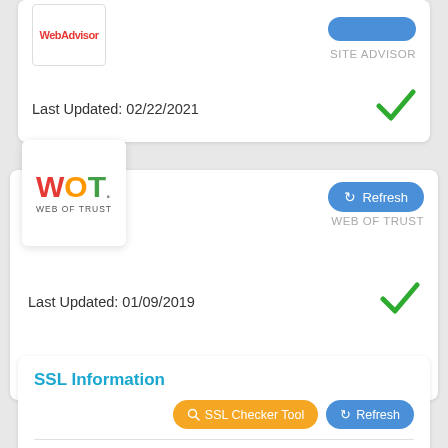SITE ADVISOR
Last Updated: 02/22/2021
[Figure (logo): WOT - Web of Trust logo]
Refresh
WEB OF TRUST
Last Updated: 01/09/2019
SSL Information
SSL Checker Tool
Refresh
Domain	light-dark.net